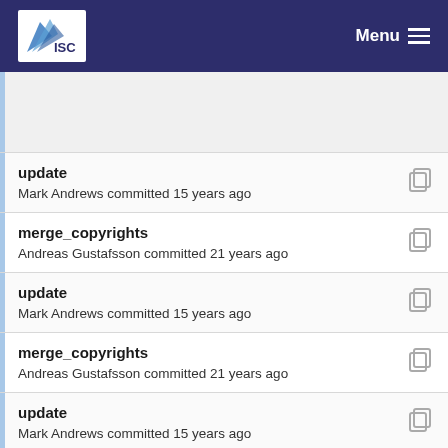ISC Menu
update
Mark Andrews committed 15 years ago
merge_copyrights
Andreas Gustafsson committed 21 years ago
update
Mark Andrews committed 15 years ago
merge_copyrights
Andreas Gustafsson committed 21 years ago
update
Mark Andrews committed 15 years ago
merge_copyrights
Andreas Gustafsson committed 21 years ago
update
Mark Andrews committed 15 years ago